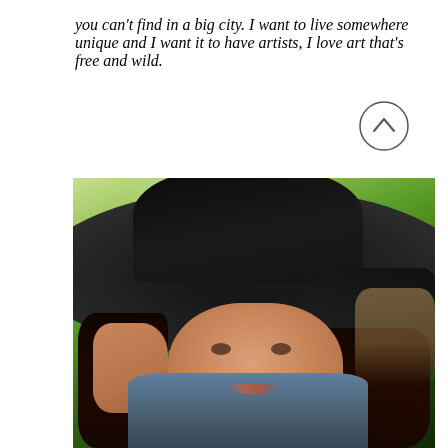you can't find in a big city. I want to live somewhere unique and I want it to have artists, I love art that's free and wild.
[Figure (photo): A young woman wearing a large wide-brim dark hat, smiling, with trees in background. She rests her chin/cheek on her hand.]